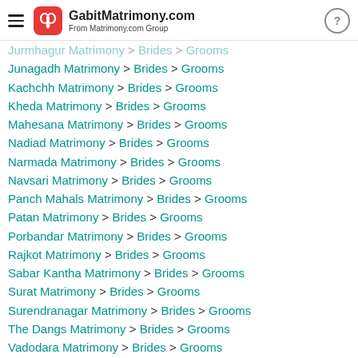GabitMatrimony.com — From Matrimony.com Group
Jurmhagur Matrimony > Brides > Grooms
Junagadh Matrimony > Brides > Grooms
Kachchh Matrimony > Brides > Grooms
Kheda Matrimony > Brides > Grooms
Mahesana Matrimony > Brides > Grooms
Nadiad Matrimony > Brides > Grooms
Narmada Matrimony > Brides > Grooms
Navsari Matrimony > Brides > Grooms
Panch Mahals Matrimony > Brides > Grooms
Patan Matrimony > Brides > Grooms
Porbandar Matrimony > Brides > Grooms
Rajkot Matrimony > Brides > Grooms
Sabar Kantha Matrimony > Brides > Grooms
Surat Matrimony > Brides > Grooms
Surendranagar Matrimony > Brides > Grooms
The Dangs Matrimony > Brides > Grooms
Vadodara Matrimony > Brides > Grooms
Valsad Matrimony > Brides > Grooms